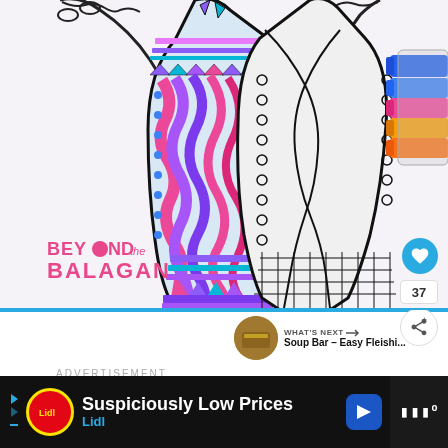[Figure (photo): A coloring book page showing decorative vases/goblets with intricate patterns. The left vase is colored with purple, blue, and pink hues with wave and dot patterns. The right vase is uncolored (black outline) with swirl and circle patterns. Colorful markers are visible in the upper right corner. The image has a Beyond the Balagan watermark logo in pink text at the bottom left.]
37
WHAT'S NEXT → Soup Bar – Easy Fleishi...
ADVERTISEMENT
Suspiciously Low Prices Lidl